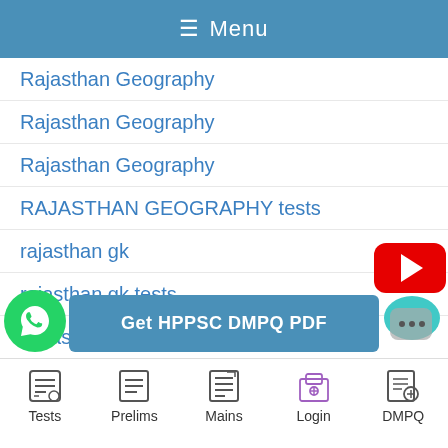≡ Menu
Rajasthan Geography
Rajasthan Geography
Rajasthan Geography
RAJASTHAN GEOGRAPHY tests
rajasthan gk
rajasthan gk tests
Rajasthan History
Rajasthan History
Rajasthan history & culture
Rajasthan polity
jasthan polity
Get HPPSC DMPQ PDF
Tests  Prelims  Mains  Login  DMPQ